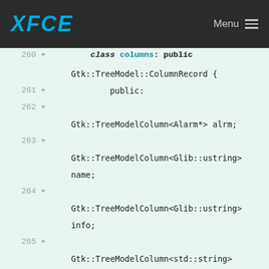XFCE  Menu
Code diff showing C++ class Columns definition with TreeModelColumn members and constructor, lines 260-269